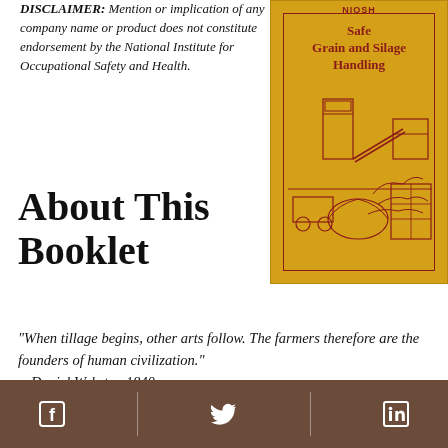DISCLAIMER: Mention or implication of any company name or product does not constitute endorsement by the National Institute for Occupational Safety and Health.
[Figure (illustration): Book cover for 'Safe Grain and Silage Handling' published by NIOSH, yellow cover with red text and red line drawings of grain handling equipment.]
About This Booklet
“When tillage begins, other arts follow. The farmers therefore are the founders of human civilization.”
—Daniel Webster, 1840
American statesman, Orator
Social media icons: Facebook, Twitter, LinkedIn